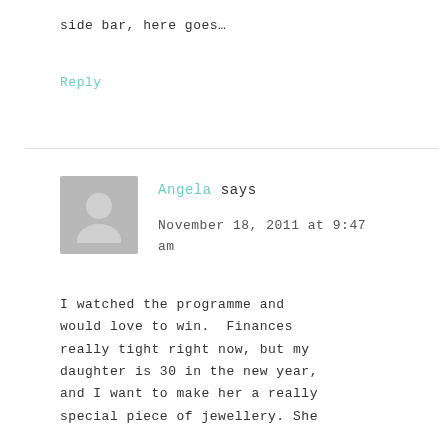side bar, here goes…
Reply
Angela says
November 18, 2011 at 9:47 am
I watched the programme and would love to win. Finances really tight right now, but my daughter is 30 in the new year, and I want to make her a really special piece of jewellery. She